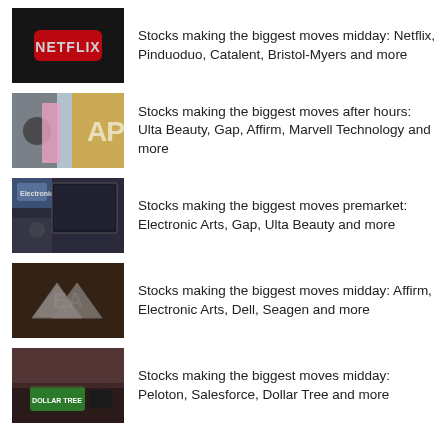[Figure (photo): Netflix logo on a dark surface]
Stocks making the biggest moves midday: Netflix, Pinduoduo, Catalent, Bristol-Myers and more
[Figure (photo): Person in pink jacket near a GAP store sign]
Stocks making the biggest moves after hours: Ulta Beauty, Gap, Affirm, Marvell Technology and more
[Figure (photo): Electronic Arts gaming setup with screens]
Stocks making the biggest moves premarket: Electronic Arts, Gap, Ulta Beauty and more
[Figure (photo): EA logo letters in 3D on dark background]
Stocks making the biggest moves midday: Affirm, Electronic Arts, Dell, Seagen and more
[Figure (photo): Dollar Tree store exterior with sign]
Stocks making the biggest moves midday: Peloton, Salesforce, Dollar Tree and more